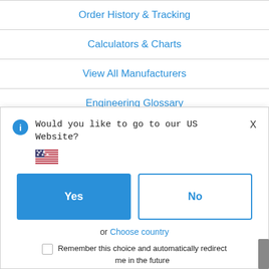Order History & Tracking
Calculators & Charts
View All Manufacturers
Engineering Glossary
Contact Us
Would you like to go to our US Website?
Yes
No
or  Choose country
Remember this choice and automatically redirect me in the future